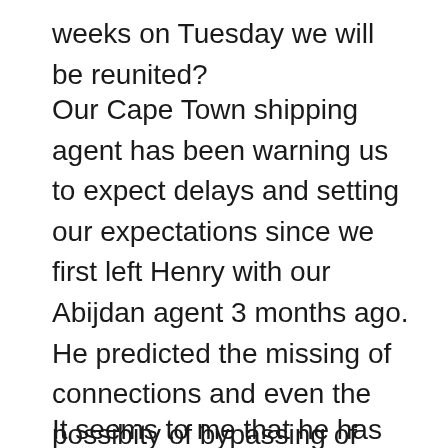weeks on Tuesday we will be reunited?
Our Cape Town shipping agent has been warning us to expect delays and setting our expectations since we first left Henry with our Abijdan agent 3 months ago. He predicted the missing of connections and even the possibity of bypassing of Cape Town – although even he is amazed at just how long it has taken. But now he is planning for Henry´s arrival at the farm sometime between 6th – 10th May. He has no more warnings or potential disasters left to advise of, it seems he is finally confident that we are nearing the end of the road.
It seems to me that he has been 2 -3 weeks away